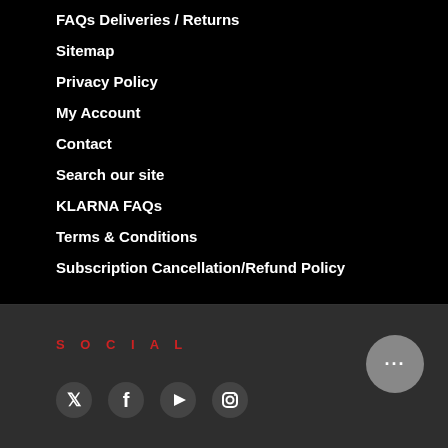FAQs Deliveries / Returns
Sitemap
Privacy Policy
My Account
Contact
Search our site
KLARNA FAQs
Terms & Conditions
Subscription Cancellation/Refund Policy
S O C I A L
[Figure (illustration): Social media icons: Twitter/X, Facebook, YouTube, Instagram, and a chat button]